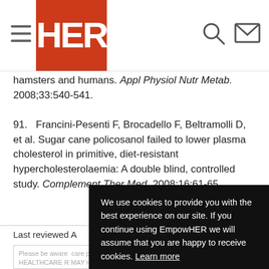HER (logo header with navigation)
hamsters and humans. Appl Physiol Nutr Metab. 2008;33:540-541.
91.   Francini-Pesenti F, Brocadello F, Beltramolli D, et al. Sugar cane policosanol failed to lower plasma cholesterol in primitive, diet-resistant hypercholesterolaemia: A double blind, controlled study. Complement Ther Med. 2008;16:61-65.
Last reviewed A
Please be aware care provided by be a substitute fo HEALTHCARE R MAY HAVE A ME your physician o new treatment o medical condition.
We use cookies to provide you with the best experience on our site. If you continue using EmpowHER we will assume that you are happy to receive cookies. Learn more
Got it!